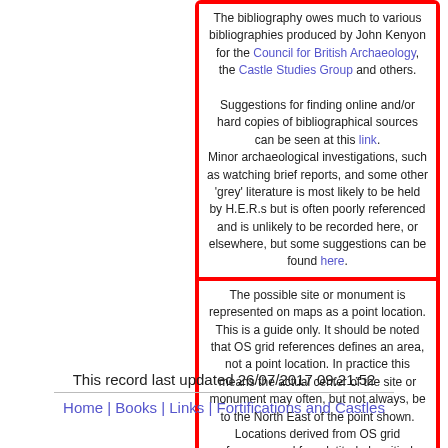The bibliography owes much to various bibliographies produced by John Kenyon for the Council for British Archaeology, the Castle Studies Group and others. Suggestions for finding online and/or hard copies of bibliographical sources can be seen at this link. Minor archaeological investigations, such as watching brief reports, and some other 'grey' literature is most likely to be held by H.E.R.s but is often poorly referenced and is unlikely to be recorded here, or elsewhere, but some suggestions can be found here.
The possible site or monument is represented on maps as a point location. This is a guide only. It should be noted that OS grid references defines an area, not a point location. In practice this means the actual center of the site or monument may often, but not always, be to the North East of the point shown. Locations derived from OS grid references and from latitude longitiude may differ by a small distance. Further information on mapping and location can be seen at this link.
Please help to make this as useful a resource as possible by contacting Gatehouse if you see errors, can add information or have suggestions for improvements in functality and design. Help is acknowledged.
This record last updated 26/07/2017 09:21:52
Home | Books | Links | Fortifications and Castles